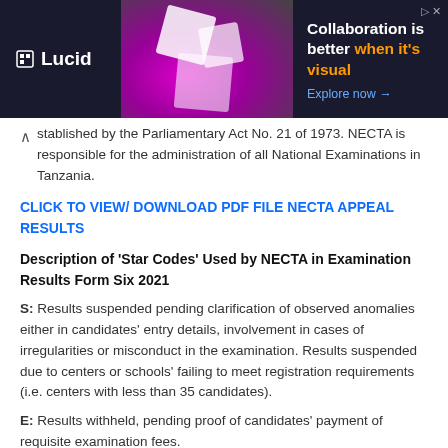[Figure (screenshot): Lucid advertisement banner with dark background showing 'Collaboration is better when it's visual' and 'Explore now' link]
stablished by the Parliamentary Act No. 21 of 1973. NECTA is responsible for the administration of all National Examinations in Tanzania.
CLICK TO VIEW/ DOWNLOAD PDF FILE NECTA APPEAL RESULTS
Description of 'Star Codes' Used by NECTA in Examination Results Form Six 2021
S: Results suspended pending clarification of observed anomalies either in candidates' entry details, involvement in cases of irregularities or misconduct in the examination. Results suspended due to centers or schools' failing to meet registration requirements (i.e. centers with less than 35 candidates).
E: Results withheld, pending proof of candidates' payment of requisite examination fees.